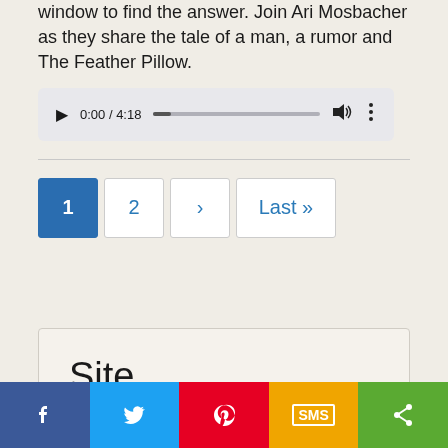window to find the answer. Join Ari Mosbacher as they share the tale of a man, a rumor and The Feather Pillow.
[Figure (screenshot): Audio player showing 0:00 / 4:18 with play button, progress bar, volume icon, and more options icon]
Pagination: 1, 2, ›, Last »
Site
[Figure (infographic): Social share bar with Facebook, Twitter, Pinterest, SMS, and Share buttons]